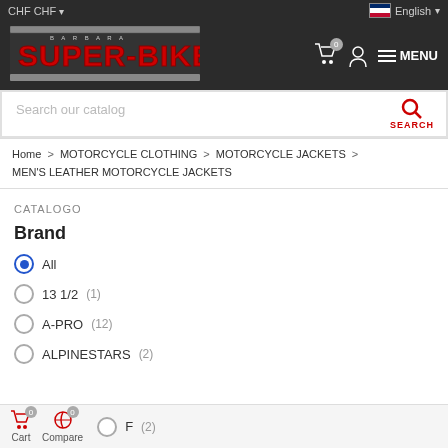CHF CHF  English
[Figure (logo): Super-Bike website logo with red text on dark background]
Search our catalog
Home > MOTORCYCLE CLOTHING > MOTORCYCLE JACKETS > MEN'S LEATHER MOTORCYCLE JACKETS
CATALOGO
Brand
All
13 1/2 (1)
A-PRO (12)
ALPINESTARS (2)
F (2)
Cart 0  Compare 0